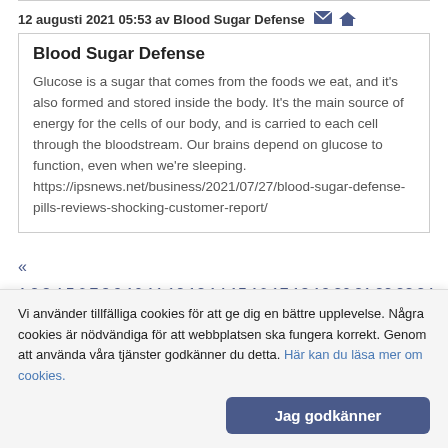12 augusti 2021 05:53 av Blood Sugar Defense
Blood Sugar Defense
Glucose is a sugar that comes from the foods we eat, and it's also formed and stored inside the body. It's the main source of energy for the cells of our body, and is carried to each cell through the bloodstream. Our brains depend on glucose to function, even when we're sleeping. https://ipsnews.net/business/2021/07/27/blood-sugar-defense-pills-reviews-shocking-customer-report/
« 1 2 3 4 5 6 7 8 9 10 11 12 13 14 15 16 17 18 19 20 21 22 23 24 25 26 27 28 29 30 31 32 33 34 35 36 37 38 39 40 41 42 43 44 45 46 47 48 49 50 51 52 53 54 55 56 57 58 59 60 61 62 63 64 65 66
Vi använder tillfälliga cookies för att ge dig en bättre upplevelse. Några cookies är nödvändiga för att webbplatsen ska fungera korrekt. Genom att använda våra tjänster godkänner du detta. Här kan du läsa mer om cookies.